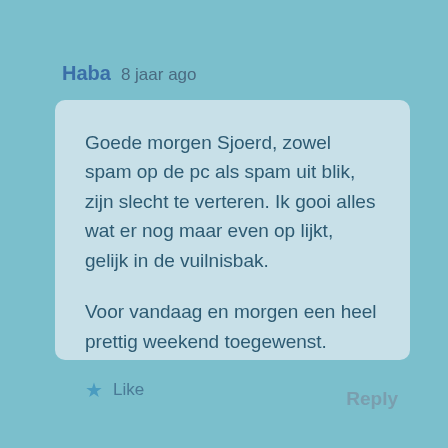Haba  8 jaar ago
Goede morgen Sjoerd, zowel spam op de pc als spam uit blik, zijn slecht te verteren. Ik gooi alles wat er nog maar even op lijkt, gelijk in de vuilnisbak.

Voor vandaag en morgen een heel prettig weekend toegewenst.
★ Like
Reply